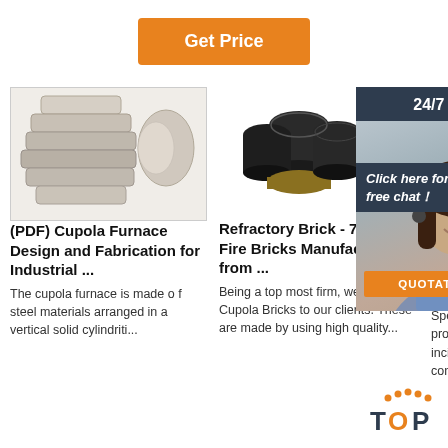Get Price
[Figure (photo): Cupola furnace refractory brick pieces, stacked grey ceramic blocks]
[Figure (photo): Black cylindrical refractory bricks / fire bricks, 75mm, some with gold base]
[Figure (photo): Partial view of a flat refractory brick/board, beige/tan color]
[Figure (photo): Customer service agent woman with headset, smiling. Overlay with 24/7 Online banner, Click here for free chat bubble, and QUOTATION button]
(PDF) Cupola Furnace Design and Fabrication for Industrial ...
Refractory Brick - 75mm Fire Bricks Manufacturer from ...
Refra... busi...
The cupola furnace is made of steel materials arranged in a vertical solid cylindrical...
Being a top most firm, we offer Cupola Bricks to our clients. These are made by using high quality...
2016-2...16u200...and fusion furnace. Special refractory products line. incinerator converts...